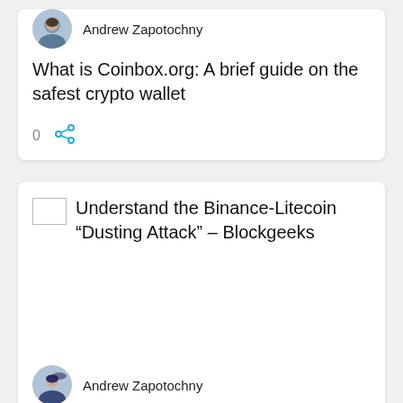Andrew Zapotochny
What is Coinbox.org: A brief guide on the safest crypto wallet
0
Understand the Binance-Litecoin “Dusting Attack” – Blockgeeks
Andrew Zapotochny